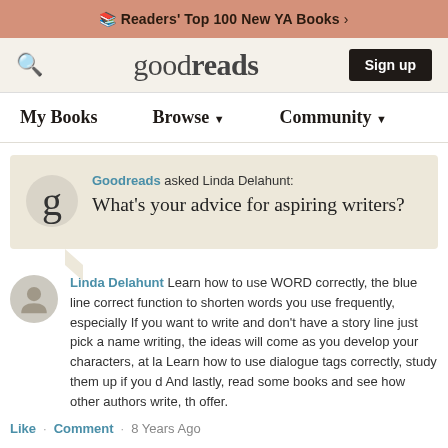Readers' Top 100 New YA Books >
[Figure (screenshot): Goodreads website header with search icon, goodreads logo, and Sign up button]
My Books   Browse▼   Community▼
Goodreads asked Linda Delahunt: What's your advice for aspiring writers?
Linda Delahunt Learn how to use WORD correctly, the blue line correct function to shorten words you use frequently, especially If you want to write and don't have a story line just pick a name writing, the ideas will come as you develop your characters, at l Learn how to use dialogue tags correctly, study them up if you And lastly, read some books and see how other authors write, t offer.
Like · Comment · 8 Years Ago